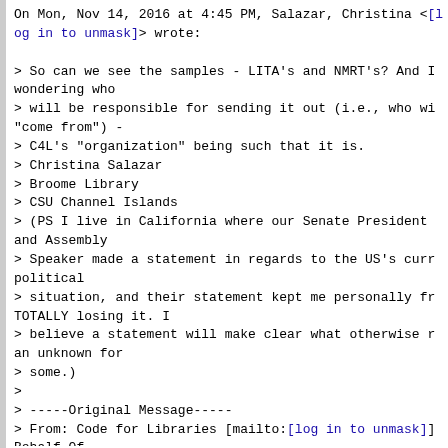On Mon, Nov 14, 2016 at 4:45 PM, Salazar, Christina <[log in to unmask]> wrote:

> So can we see the samples - LITA's and NMRT's? And I wondering who
> will be responsible for sending it out (i.e., who wi "come from") -
> C4L's "organization" being such that it is.
> Christina Salazar
> Broome Library
> CSU Channel Islands
> (PS I live in California where our Senate President and Assembly
> Speaker made a statement in regards to the US's curr political
> situation, and their statement kept me personally fr TOTALLY losing it. I
> believe a statement will make clear what otherwise r an unknown for
> some.)
>
> -----Original Message-----
> From: Code for Libraries [mailto:[log in to unmask]] Behalf Of
> Kim, Bohyun
> Sent: Monday, November 14, 2016 1:05 PM
> To: [log in to unmask]
> Subject: [CODE4LIB] Post-election statement affirmin diversity from
> Code4Lib?